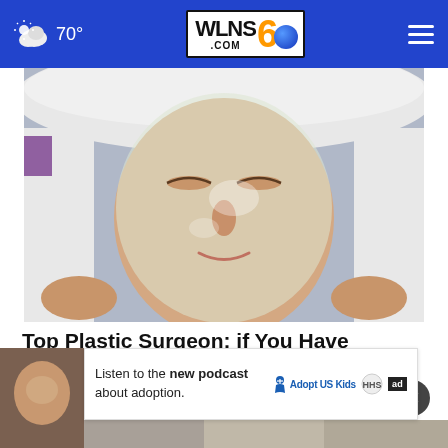70° WLNS6 .COM
[Figure (photo): Woman lying down with a clear hydrating face mask applied, wrapped in a white towel, eyes closed, in a spa or beauty treatment setting]
Top Plastic Surgeon: if You Have Wrinkles, Do This Before Bed!
Extremely Effective Anti-aging
[Figure (screenshot): Advertisement banner: Listen to the new podcast about adoption. Adopt US Kids logo and ad badge shown.]
[Figure (photo): Bottom strip showing partial thumbnail images]